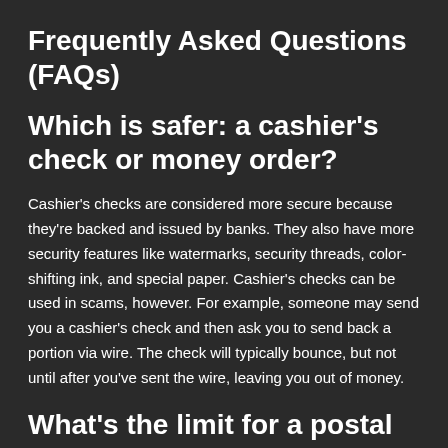Frequently Asked Questions (FAQs)
Which is safer: a cashier's check or money order?
Cashier's checks are considered more secure because they're backed and issued by banks. They also have more security features like watermarks, security threads, color-shifting ink, and special paper. Cashier's checks can be used in scams, however. For example, someone may send you a cashier's check and then ask you to send back a portion via wire. The check will typically bounce, but not until after you've sent the wire, leaving you out of money.
What's the limit for a postal